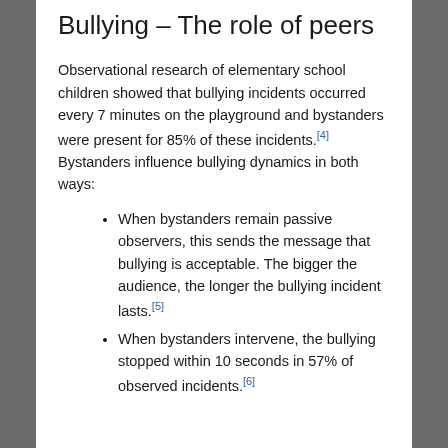Bullying – The role of peers
Observational research of elementary school children showed that bullying incidents occurred every 7 minutes on the playground and bystanders were present for 85% of these incidents.[4] Bystanders influence bullying dynamics in both ways:
When bystanders remain passive observers, this sends the message that bullying is acceptable. The bigger the audience, the longer the bullying incident lasts.[5]
When bystanders intervene, the bullying stopped within 10 seconds in 57% of observed incidents.[6]